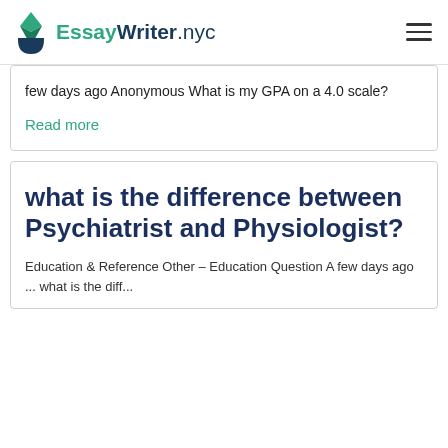EssayWriter.nyc
few days ago Anonymous What is my GPA on a 4.0 scale?
Read more
what is the difference between Psychiatrist and Physiologist?
Education & Reference Other – Education Question A few days ago ... what is the diff...